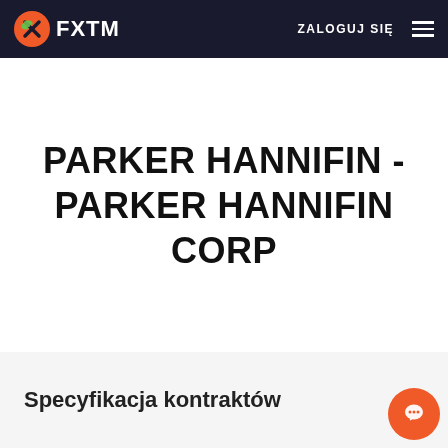FXTM | ZALOGUJ SIĘ
PARKER HANNIFIN - PARKER HANNIFIN CORP
Specyfikacja kontraktów